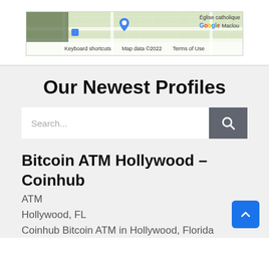[Figure (screenshot): Google Maps screenshot showing a location near Eglise catholique Google Maclou, with keyboard shortcuts, Map data 2022, Terms of Use footer]
Our Newest Profiles
Search...
Bitcoin ATM Hollywood – Coinhub
ATM
Hollywood, FL
Coinhub Bitcoin ATM in Hollywood, Florida